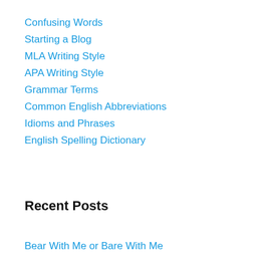Confusing Words
Starting a Blog
MLA Writing Style
APA Writing Style
Grammar Terms
Common English Abbreviations
Idioms and Phrases
English Spelling Dictionary
Recent Posts
Bear With Me or Bare With Me